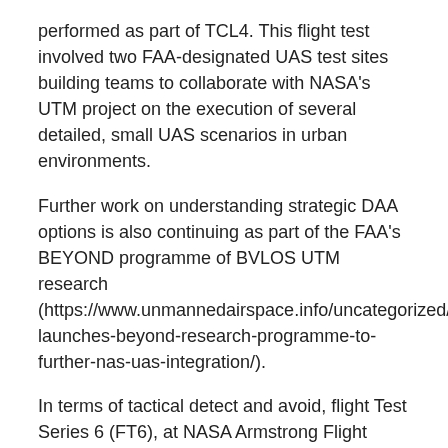performed as part of TCL4. This flight test involved two FAA-designated UAS test sites building teams to collaborate with NASA's UTM project on the execution of several detailed, small UAS scenarios in urban environments.
Further work on understanding strategic DAA options is also continuing as part of the FAA's BEYOND programme of BVLOS UTM research (https://www.unmannedairspace.info/uncategorized/faa-launches-beyond-research-programme-to-further-nas-uas-integration/).
In terms of tactical detect and avoid, flight Test Series 6 (FT6), at NASA Armstrong Flight Research Center in California helped establish the minimum operational performance standards for DAA systems for UAS. The system must alert the pilot in a timely manner when a conflict occurs and determine which display elements the pilot needs to be aware of. In November 2018 NASA...